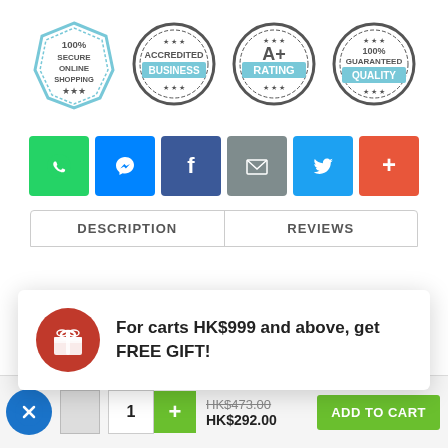[Figure (infographic): Four trust/quality badge icons: 100% Secure Online Shopping (shield), Accredited Business (round seal), A+ Rating (round seal), 100% Guaranteed Quality (round seal)]
[Figure (infographic): Row of six social share buttons: WhatsApp (green), Messenger (blue), Facebook (dark blue), Email (grey), Twitter (light blue), More/Plus (orange-red)]
[Figure (infographic): Tab bar with DESCRIPTION tab and REVIEWS tab]
For carts HK$999 and above, get FREE GIFT!
Blackmores Bio Elite 100 Tablets
HK$473.00 HK$292.00
ADD TO CART